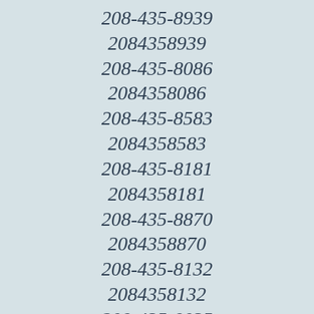208-435-8939
2084358939
208-435-8086
2084358086
208-435-8583
2084358583
208-435-8181
2084358181
208-435-8870
2084358870
208-435-8132
2084358132
208-435-8035
2084358035
208-435-8372
2084358372